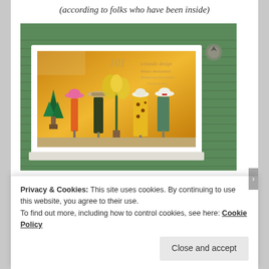(according to folks who have been inside)
[Figure (photo): Shop window of an Icelandic design store called 'Hildur Bolladóttir', set in a green corrugated metal wall. The window display shows mannequins wearing colorful hats and clothing including a yellow floral dress and green coat, with tropical plants.]
Privacy & Cookies: This site uses cookies. By continuing to use this website, you agree to their use.
To find out more, including how to control cookies, see here: Cookie Policy
Close and accept